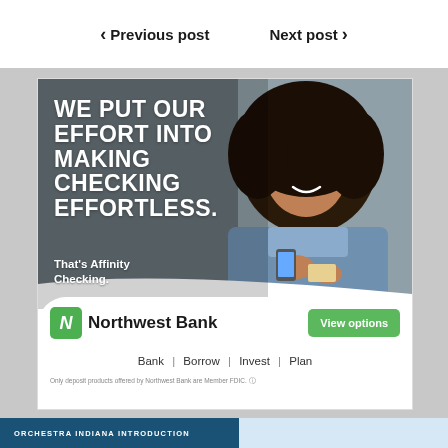< Previous post    Next post >
[Figure (photo): Northwest Bank advertisement featuring a young woman smiling and holding a phone and card, with text overlay 'WE PUT OUR EFFORT INTO MAKING CHECKING EFFORTLESS. That's Affinity Checking.' and the Northwest Bank logo, a View options button, and Bank | Borrow | Invest | Plan navigation links.]
ORCHESTRA INDIANA INTRODUCTION